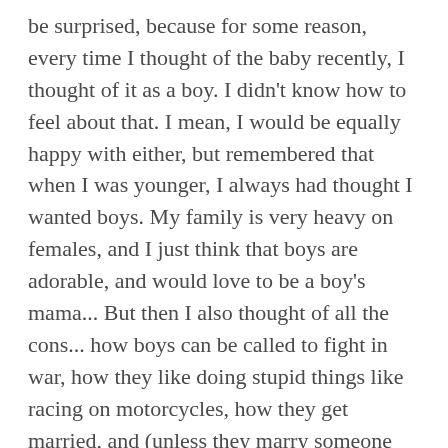be surprised, because for some reason, every time I thought of the baby recently, I thought of it as a boy. I didn't know how to feel about that. I mean, I would be equally happy with either, but remembered that when I was younger, I always had thought I wanted boys. My family is very heavy on females, and I just think that boys are adorable, and would love to be a boy's mama... But then I also thought of all the cons... how boys can be called to fight in war, how they like doing stupid things like racing on motorcycles, how they get married, and (unless they marry someone like me) end up spending way more time with their wife's family than with their own...And so, I knew I also wanted a girl.
Maybe the reason why I kept thinking of the baby